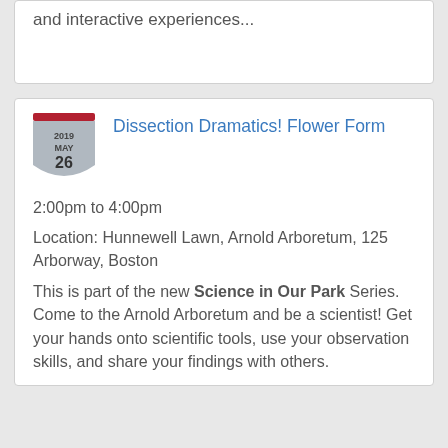and interactive experiences...
Dissection Dramatics! Flower Form
2:00pm to 4:00pm
Location: Hunnewell Lawn, Arnold Arboretum, 125 Arborway, Boston
This is part of the new Science in Our Park Series. Come to the Arnold Arboretum and be a scientist! Get your hands onto scientific tools, use your observation skills, and share your findings with others.